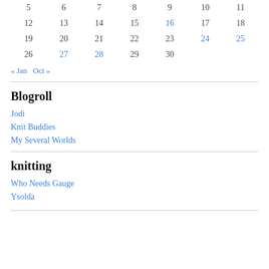| 5 | 6 | 7 | 8 | 9 | 10 | 11 |
| 12 | 13 | 14 | 15 | 16 | 17 | 18 |
| 19 | 20 | 21 | 22 | 23 | 24 | 25 |
| 26 | 27 | 28 | 29 | 30 |  |  |
« Jan   Oct »
Blogroll
Jodi
Knit Buddies
My Several Worlds
knitting
Who Needs Gauge
Ysolda